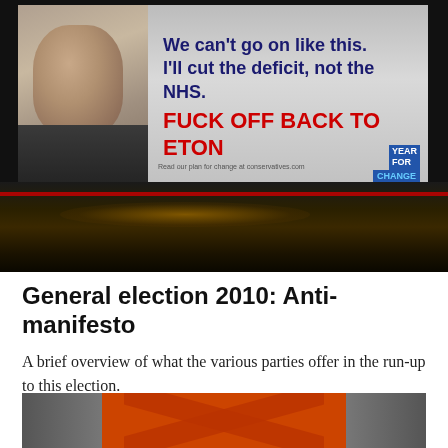[Figure (photo): A vandalized Conservative Party billboard showing David Cameron's face with the text 'We can't go on like this. I'll cut the deficit, not the NHS.' overlaid with red graffiti reading 'FUCK OFF BACK TO ETON'. A car roof is visible in the foreground at night.]
General election 2010: Anti-manifesto
A brief overview of what the various parties offer in the run-up to this election.
[Figure (photo): Partially visible image showing faces in greyscale with a large orange/red X mark overlaid, likely representing political figures.]